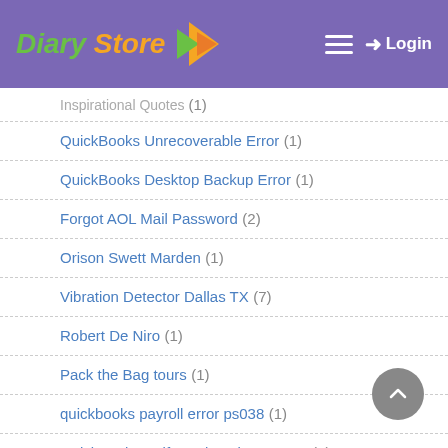Diary Store — Login
Inspirational Quotes (1)
QuickBooks Unrecoverable Error (1)
QuickBooks Desktop Backup Error (1)
Forgot AOL Mail Password (2)
Orison Swett Marden (1)
Vibration Detector Dallas TX (7)
Robert De Niro (1)
Pack the Bag tours (1)
quickbooks payroll error ps038 (1)
QuickBooks Self Employed Error 324 (1)
QuickBooks Error 193: 0xc1 when starting QuickBooks (1)
Quickbooks Desktop Enterprise Payroll Support